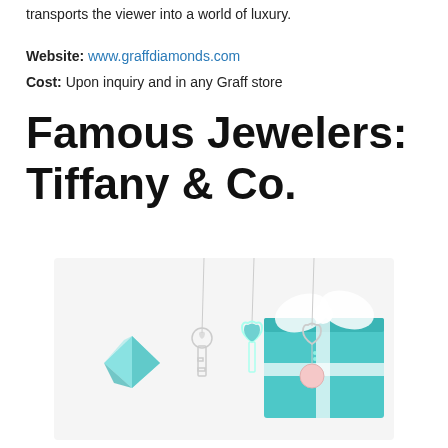transports the viewer into a world of luxury.
Website: www.graffdiamonds.com
Cost: Upon inquiry and in any Graff store
Famous Jewelers: Tiffany & Co.
[Figure (photo): Tiffany & Co. jewelry photo showing three silver necklaces with heart and key pendants, a teal Tiffany gift box with white bow ribbon, and a large blue-green diamond, all against a white background with Tiffany blue color scheme.]